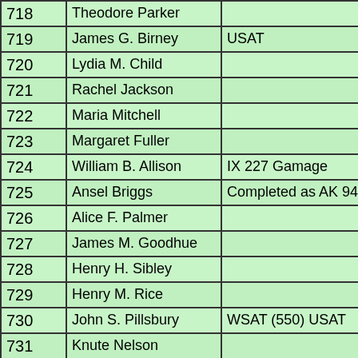| Number | Name | Notes |
| --- | --- | --- |
| 718 | Theodore Parker |  |
| 719 | James G. Birney | USAT |
| 720 | Lydia M. Child |  |
| 721 | Rachel Jackson |  |
| 722 | Maria Mitchell |  |
| 723 | Margaret Fuller |  |
| 724 | William B. Allison | IX 227 Gamage |
| 725 | Ansel Briggs | Completed as AK 94 Minta |
| 726 | Alice F. Palmer |  |
| 727 | James M. Goodhue |  |
| 728 | Henry H. Sibley |  |
| 729 | Henry M. Rice |  |
| 730 | John S. Pillsbury | WSAT (550) USAT |
| 731 | Knute Nelson |  |
| 732 | James B. Weaver | USAT |
| 733 | Simon Newcomb |  |
| 734 | Amy Lowell |  |
| 735 | William G. Fargo |  |
| 736 | William James |  |
| 737 | Jacques Cartier |  |
| 738 | Stanford White | assigned Poppy not used; |